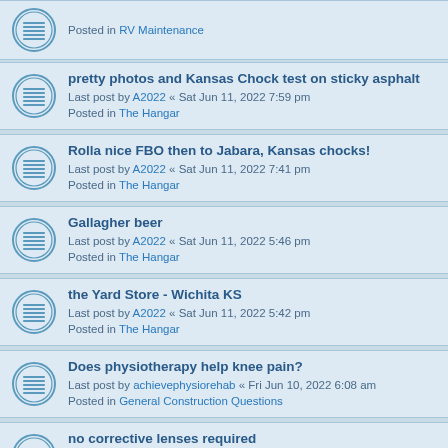Posted in RV Maintenance
pretty photos and Kansas Chock test on sticky asphalt
Last post by A2022 « Sat Jun 11, 2022 7:59 pm
Posted in The Hangar
Rolla nice FBO then to Jabara, Kansas chocks!
Last post by A2022 « Sat Jun 11, 2022 7:41 pm
Posted in The Hangar
Gallagher beer
Last post by A2022 « Sat Jun 11, 2022 5:46 pm
Posted in The Hangar
the Yard Store - Wichita KS
Last post by A2022 « Sat Jun 11, 2022 5:42 pm
Posted in The Hangar
Does physiotherapy help knee pain?
Last post by achievephysiorehab « Fri Jun 10, 2022 6:08 am
Posted in General Construction Questions
no corrective lenses required
Last post by A2022 « Wed Jun 08, 2022 8:51 pm
Posted in The Hangar
anti-Trump magnetic tool holders
Last post by A2022 « Mon May 30, 2022 8:05 pm
Posted in The Hangar
put-in-bay, time to play
Last post by A2022 « Thu May 26, 2022 6:38 pm
Posted in The Hangar